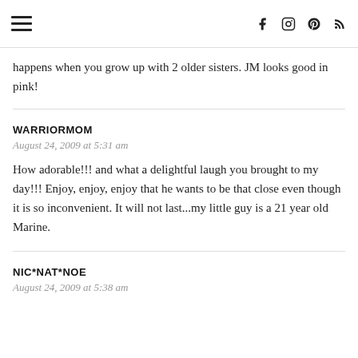☰  f  ⓘ  ⓟ  ⓡ
happens when you grow up with 2 older sisters. JM looks good in pink!
WARRIORMOM
August 24, 2009 at 5:31 am
How adorable!!! and what a delightful laugh you brought to my day!!! Enjoy, enjoy, enjoy that he wants to be that close even though it is so inconvenient. It will not last...my little guy is a 21 year old Marine.
NIC*NAT*NOE
August 24, 2009 at 5:38 am